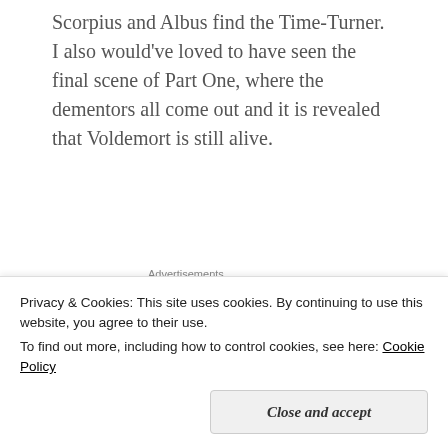Scorpius and Albus find the Time-Turner. I also would've loved to have seen the final scene of Part One, where the dementors all come out and it is revealed that Voldemort is still alive.
[Figure (other): WordPress.com advertisement banner with gradient purple-pink background. Text reads 'Simplified pricing for everything you need.' with WordPress.com logo on the right.]
I also did like the character of Scorpius Malfoy. Yay – FINALLY JK Rowling writes a likable Slytherin character! Ok fine, Albus Potter is Slytherin too, but I
Privacy & Cookies: This site uses cookies. By continuing to use this website, you agree to their use.
To find out more, including how to control cookies, see here: Cookie Policy
sorted me into Slytherin, I've been waiting for a great